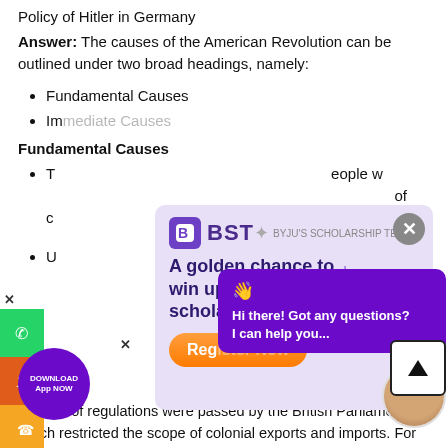Policy of Hitler in Germany
Answer: The causes of the American Revolution can be outlined under two broad headings, namely:
Fundamental Causes
Immediate Causes
Fundamental Causes
The colonial people were deeply influenced by the spirit of nationalism... of ...
Unhealthy relations between the British executives ... authorized the ... the ...
Mercantile Policy: A number of regulations were passed by the British Parliament which restricted the scope of colonial exports and imports. For example, the colonists were forced to sell their goods only to English merchants and
number of regulations were passed by the British Parliament which restricted the scope of colonial exports and imports. For example, the colonists were forced to sell their goods only to English merchants and
[Figure (infographic): BST (Byju's Scholarship Test) advertisement banner with purple background, logo, text 'A golden chance to win up to a 100% scholarship!' and a Register button, with a girl holding books image on right side and a close (x) button.]
[Figure (infographic): Purple chat popup: 'Hi there! Got any questions? I can help you...' with wave emoji]
[Figure (infographic): Left social sidebar with WhatsApp, share, and phone icons, plus x close buttons and purple Download App NOW badge]